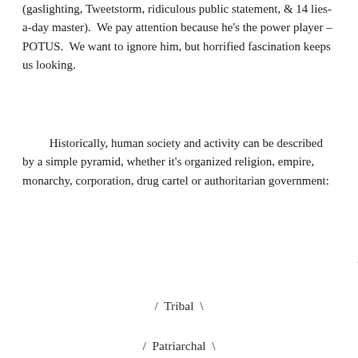(gaslighting, Tweetstorm, ridiculous public statement, & 14 lies-a-day master).  We pay attention because he's the power player – POTUS.  We want to ignore him, but horrified fascination keeps us looking.
Historically, human society and activity can be described by a simple pyramid, whether it's organized religion, empire, monarchy, corporation, drug cartel or authoritarian government:
[Figure (illustration): A simple pyramid diagram with lines forming triangle edges, with labels: top apex with slashes, then 'Tribal' row, then 'Patriarchal' row]
/        \
/  Tribal  \
/  Patriarchal  \